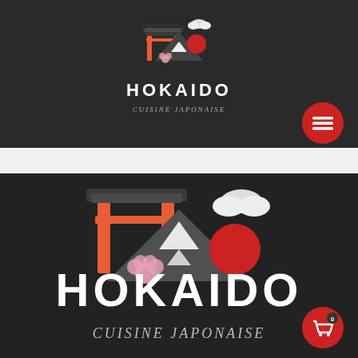[Figure (logo): Hokaido Cuisine Japonaise logo — top header version, small. Orange torii gate, mountain, red sun, clouds, cherry blossom on dark background.]
HOKAIDO
CUISINE JAPONAISE
[Figure (logo): Hokaido Cuisine Japonaise logo — large hero version. Orange torii gate, grey mountain, red sun, white clouds, pink cherry blossom on dark textured background.]
HOKAIDO
CUISINE JAPONAISE